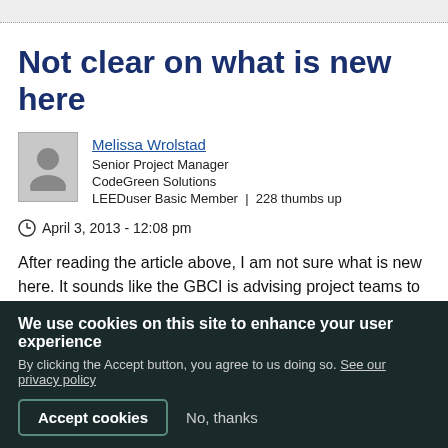Not clear on what is new here
Melissa Wrolstad
Senior Project Manager
CodeGreen Solutions
LEEDuser Basic Member | 228 thumbs up
April 3, 2013 - 12:08 pm
After reading the article above, I am not sure what is new here. It sounds like the GBCI is advising project teams to invest a multitude of extra hours reading LEED Interpretations, addenda, guidance documents, and tens of thousands of
We use cookies on this site to enhance your user experience
By clicking the Accept button, you agree to us doing so. See our privacy policy
Accept cookies   No, thanks